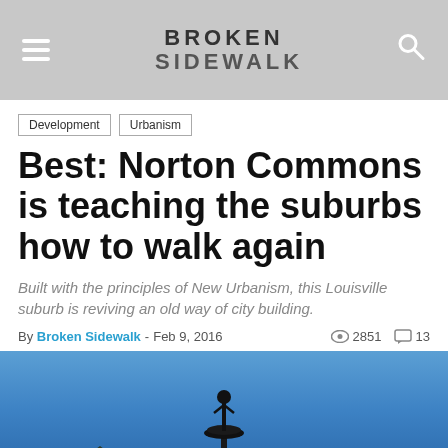BROKEN SIDEWALK
Development
Urbanism
Best: Norton Commons is teaching the suburbs how to walk again
Built with the principles of New Urbanism, this Louisville suburb is reviving an old way of city building.
By Broken Sidewalk - Feb 9, 2016  2851  13
[Figure (photo): Photograph of a fountain silhouette against a blue sky with rooftops visible in the background at Norton Commons, Louisville suburb]